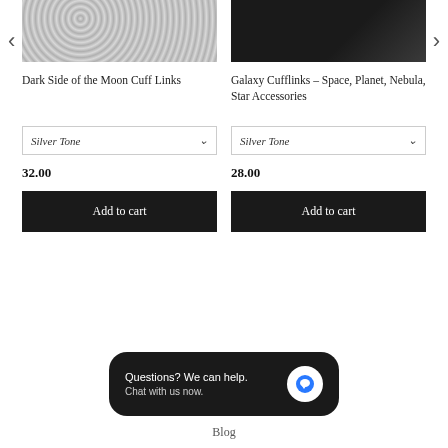[Figure (photo): Product image: Dark Side of the Moon Cuff Links - metallic shimmery silver texture]
[Figure (photo): Product image: Galaxy Cufflinks - dark background with gems/stars, hand holding them]
Dark Side of the Moon Cuff Links
Galaxy Cufflinks - Space, Planet, Nebula, Star Accessories
Silver Tone
Silver Tone
32.00
28.00
Add to cart
Add to cart
Questions? We can help. Chat with us now.
Blog